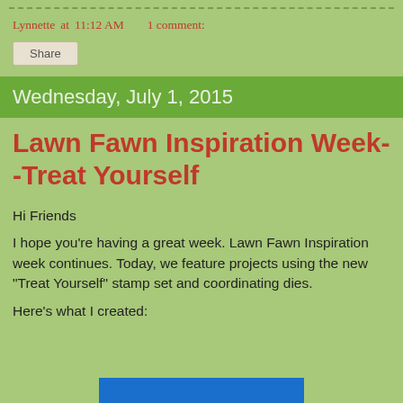Lynnette at 11:12 AM    1 comment:
Share
Wednesday, July 1, 2015
Lawn Fawn Inspiration Week--Treat Yourself
Hi Friends
I hope you're having a great week.  Lawn Fawn Inspiration week continues. Today, we feature projects using the new "Treat Yourself" stamp set and coordinating dies.
Here's what I created:
[Figure (photo): Partial view of a crafting project image at bottom of page]